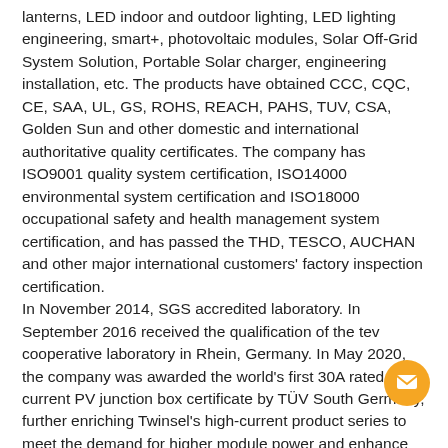lanterns, LED indoor and outdoor lighting, LED lighting engineering, smart+, photovoltaic modules, Solar Off-Grid System Solution, Portable Solar charger, engineering installation, etc. The products have obtained CCC, CQC, CE, SAA, UL, GS, ROHS, REACH, PAHS, TUV, CSA, Golden Sun and other domestic and international authoritative quality certificates. The company has ISO9001 quality system certification, ISO14000 environmental system certification and ISO18000 occupational safety and health management system certification, and has passed the THD, TESCO, AUCHAN and other major international customers' factory inspection certification.
In November 2014, SGS accredited laboratory. In September 2016 received the qualification of the tev cooperative laboratory in Rhein, Germany. In May 2020, the company was awarded the world's first 30A rated current PV junction box certificate by TÜV South Germany, further enriching Twinsel's high-current product series to meet the demand for higher module power and enhance the market competitiveness of Twinsel's products. The company's current plant area: 200,000 square meters, 1,200 employees, 150 technical research and development personnel, annual sales of 2 billion, the monthly production capacity of lamps and lanterns 3M sets, the monthly